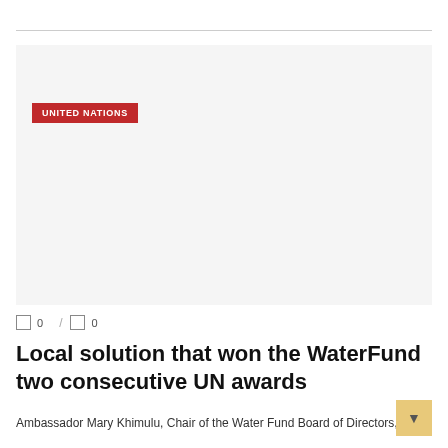UNITED NATIONS
[Figure (photo): Large image area placeholder for a news article photograph]
0  /  0
Local solution that won the WaterFund two consecutive UN awards
Ambassador Mary Khimulu, Chair of the Water Fund Board of Directors,